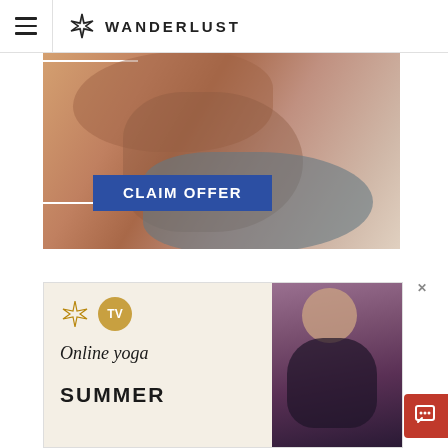WANDERLUST
[Figure (photo): Promotional image of a person doing yoga/stretching with a blue 'CLAIM OFFER' button overlaid, and a white border frame on the left side.]
[Figure (infographic): Wanderlust TV advertisement banner showing a woman doing yoga with text 'Online yoga SUMMER' and the Wanderlust TV logo (compass icon + TV badge).]